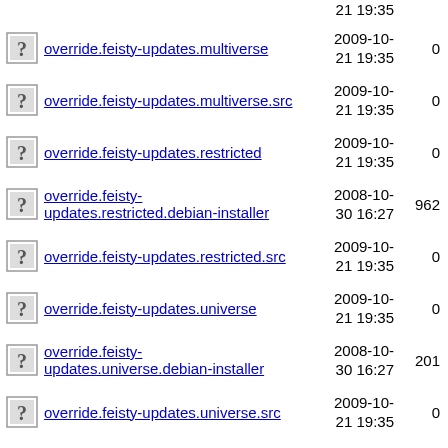override.feisty-updates.multiverse
override.feisty-updates.multiverse.src
override.feisty-updates.restricted
override.feisty-updates.restricted.debian-installer
override.feisty-updates.restricted.src
override.feisty-updates.universe
override.feisty-updates.universe.debian-installer
override.feisty-updates.universe.src
override.feisty.extra.main
override.feisty.extra.multiverse
override.feisty.extra.restricted